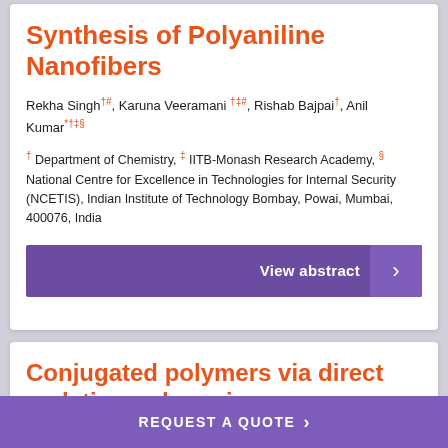Synthesis of Polyaniline Nanofibers
Rekha Singh†#, Karuna Veeramani †‡#, Rishab Bajpai†, Anil Kumar*†‡§
† Department of Chemistry, ‡ IITB-Monash Research Academy, § National Centre for Excellence in Technologies for Internal Security (NCETIS), Indian Institute of Technology Bombay, Powai, Mumbai, 400076, India
View abstract
Conjugated polymers via direct arylation polymerisation
REQUEST A QUOTE